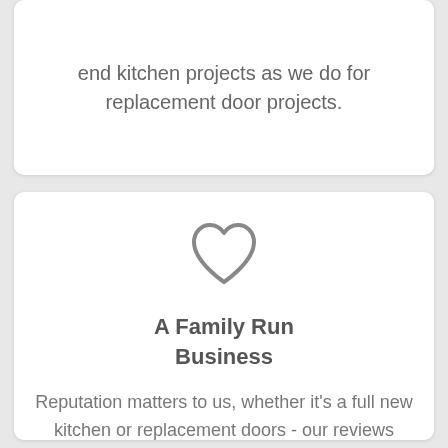end kitchen projects as we do for replacement door projects.
[Figure (illustration): Heart outline icon in grey]
A Family Run Business
Reputation matters to us, whether it's a full new kitchen or replacement doors - our reviews speak for themselves.